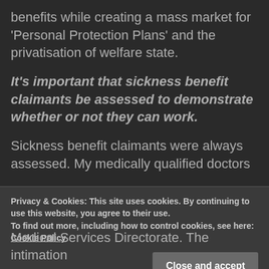benefits while creating a mass market for 'Personal Protection Plans' and the privatisation of welfare state.
It's important that sickness benefit claimants be assessed to demonstrate whether or not they can work.
Sickness benefit claimants were always assessed. My medically qualified doctors
Privacy & Cookies: This site uses cookies. By continuing to use this website, you agree to their use.
To find out more, including how to control cookies, see here: Cookie Policy
Medical Services Directorate. The intimation